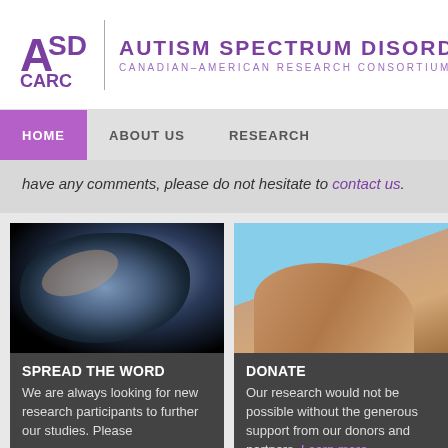[Figure (logo): ASD CARC logo with purple letters and text AUTISM SPECTRUM DISORDERS CANADIAN-AMERICAN RESEARCH CONSORTIUM]
HOME   ABOUT US   RESEARCH
have any comments, please do not hesitate to contact us.
[Figure (photo): Aerial photo of Earth from space with dark sky and brown landmass]
SPREAD THE WORD
We are always looking for new research participants to further our studies. Please
[Figure (photo): Close-up photo of hands held together against blue sky]
DONATE
Our research would not be possible without the generous support from our donors and partners. Learn more